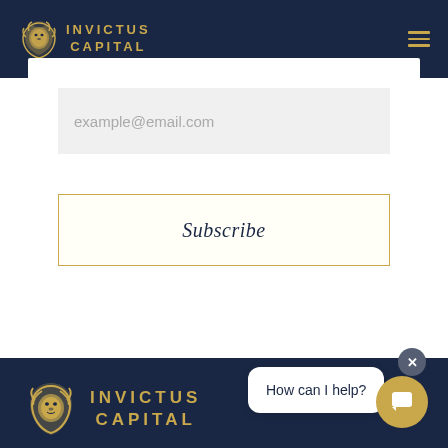[Figure (logo): Invictus Capital logo in header navigation bar — gold lion head with INVICTUS CAPITAL text]
[Figure (screenshot): Email subscription modal with placeholder text 'example@email.com' and a Subscribe button]
example@email.com
Subscribe
How can I help?
[Figure (logo): Invictus Capital logo in footer — large gold lion head with INVICTUS CAPITAL text]